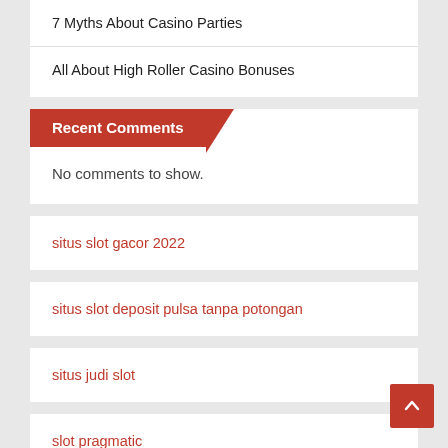7 Myths About Casino Parties
All About High Roller Casino Bonuses
Recent Comments
No comments to show.
situs slot gacor 2022
situs slot deposit pulsa tanpa potongan
situs judi slot
slot pragmatic